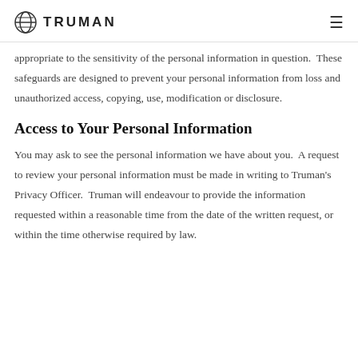TRUMAN
appropriate to the sensitivity of the personal information in question. These safeguards are designed to prevent your personal information from loss and unauthorized access, copying, use, modification or disclosure.
Access to Your Personal Information
You may ask to see the personal information we have about you. A request to review your personal information must be made in writing to Truman's Privacy Officer. Truman will endeavour to provide the information requested within a reasonable time from the date of the written request, or within the time otherwise required by law.